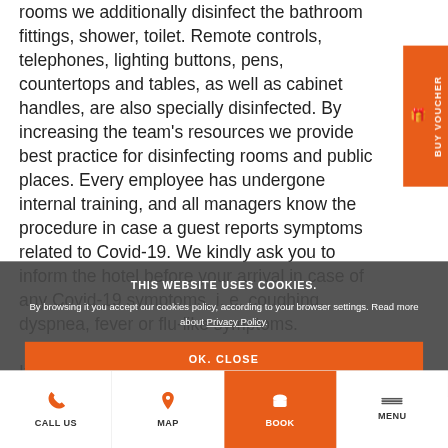rooms we additionally disinfect the bathroom fittings, shower, toilet. Remote controls, telephones, lighting buttons, pens, countertops and tables, as well as cabinet handles, are also specially disinfected. By increasing the team's resources we provide best practice for disinfecting rooms and public places. Every employee has undergone internal training, and all managers know the procedure in case a guest reports symptoms related to Covid-19. We kindly ask you to inform the hotel before your arrival in case of any Covid-19 symptoms, i. e. coughing, dyspnea, fever or flu-like symptoms.
If you have any concerns or questions, please contact the Reception Manager at 94 318 09 90 or
THIS WEBSITE USES COOKIES.
By browsing it you accept our cookies policy, according to your browser settings. Read more about Privacy Policy.
OK. CLOSE
CALL US  MAP  BOOK  MENU